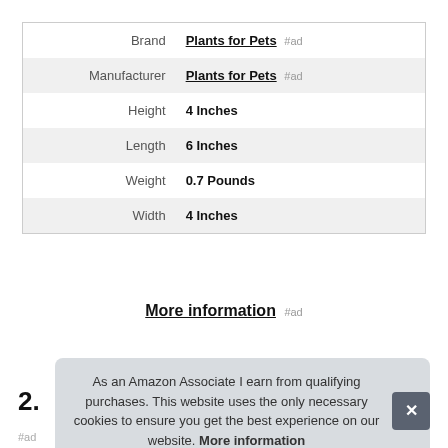|  |  |
| --- | --- |
| Brand | Plants for Pets #ad |
| Manufacturer | Plants for Pets #ad |
| Height | 4 Inches |
| Length | 6 Inches |
| Weight | 0.7 Pounds |
| Width | 4 Inches |
More information #ad
As an Amazon Associate I earn from qualifying purchases. This website uses the only necessary cookies to ensure you get the best experience on our website. More information
#ad